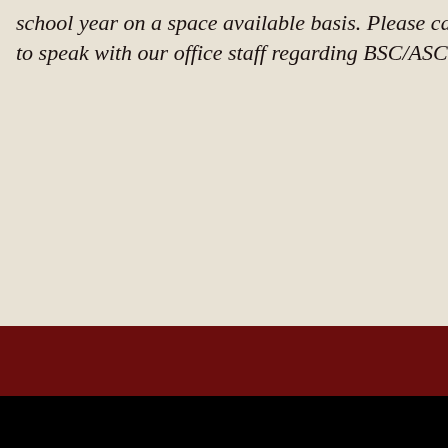school year on a space available basis. Please call ( to speak with our office staff regarding BSC/ASC inf